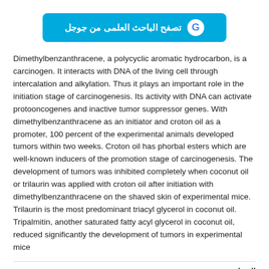[Figure (other): Google Scholar button with Arabic text 'تصفح الباحث العلمى من جوجل' and Google G logo]
Dimethylbenzanthracene, a polycyclic aromatic hydrocarbon, is a carcinogen. It interacts with DNA of the living cell through intercalation and alkylation. Thus it plays an important role in the initiation stage of carcinogenesis. Its activity with DNA can activate protooncogenes and inactive tumor suppressor genes. With dimethylbenzanthracene as an initiator and croton oil as a promoter, 100 percent of the experimental animals developed tumors within two weeks. Croton oil has phorbal esters which are well-known inducers of the promotion stage of carcinogenesis. The development of tumors was inhibited completely when coconut oil or trilaurin was applied with croton oil after initiation with dimethylbenzanthracene on the shaved skin of experimental mice. Trilaurin is the most predominant triacyl glycerol in coconut oil. Tripalmitin, another saturated fatty acyl glycerol in coconut oil, reduced significantly the development of tumors in experimental mice
المجلة
Philippine Journal of Science (Philippines)
الرقم التسلسلي المعياري الدولي (ردمد) : 0031-7683
معلومات بيليوغرافية